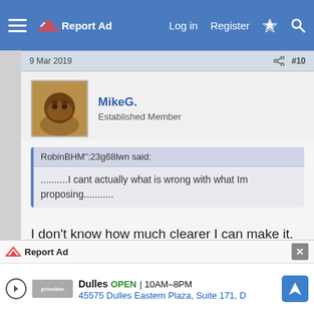Report Ad | Log in | Register
9 Mar 2019 | #10
MikeG. | Established Member
RobinBHM":23g68lwn said:

..........I cant actually what is wrong with what Im proposing...........
I don't know how much clearer I can make it. That floor is too weak for normal domestic loads. It shouldn't be used as a floor at all. You are proposing to stick a weight in the middle of it, and that will take the deflection...
Report Ad | Dulles OPEN 10AM–8PM | 45575 Dulles Eastern Plaza, Suite 171, D